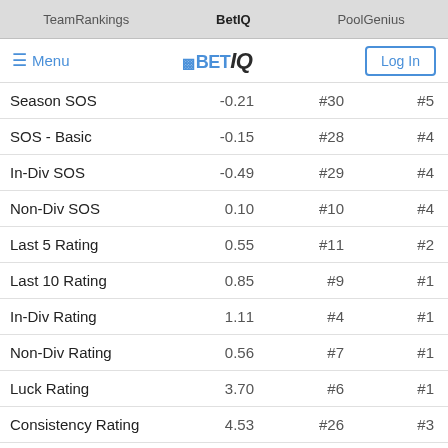TeamRankings | BetIQ | PoolGenius
≡ Menu | BETIQ | Log In
|  |  |  |  |
| --- | --- | --- | --- |
| Season SOS | -0.21 | #30 | #5 |
| SOS - Basic | -0.15 | #28 | #4 |
| In-Div SOS | -0.49 | #29 | #4 |
| Non-Div SOS | 0.10 | #10 | #4 |
| Last 5 Rating | 0.55 | #11 | #2 |
| Last 10 Rating | 0.85 | #9 | #1 |
| In-Div Rating | 1.11 | #4 | #1 |
| Non-Div Rating | 0.56 | #7 | #1 |
| Luck Rating | 3.70 | #6 | #1 |
| Consistency Rating | 4.53 | #26 | #3 |
| Vs. 1-5 Rating | -0.25 | #15 | #2 |
| Vs. 6-10 Rating | -0.80 | #21 | #3 |
| Vs. 11-16 Rating | 1.25 | #7 | #1 |
| Vs. 17-22 Rating | 1.40 | #2 | #1 |